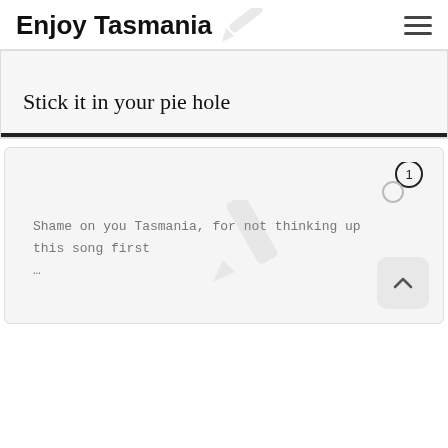Enjoy Tasmania
Stick it in your pie hole
Shame on you Tasmania, for not thinking up this song first …